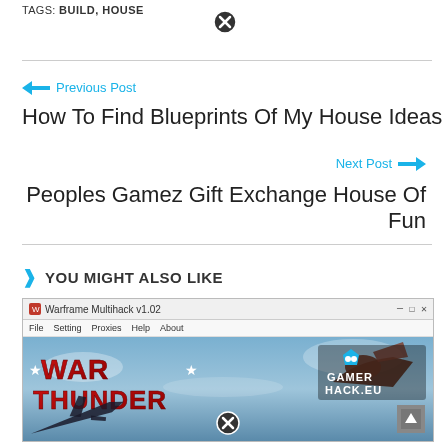TAGS: BUILD, HOUSE
← Previous Post
How To Find Blueprints Of My House Ideas
Next Post →
Peoples Gamez Gift Exchange House Of Fun
YOU MIGHT ALSO LIKE
[Figure (screenshot): Screenshot of Warframe Multihack v1.02 application window showing War Thunder game with GAMER HACK.EU logo overlay]